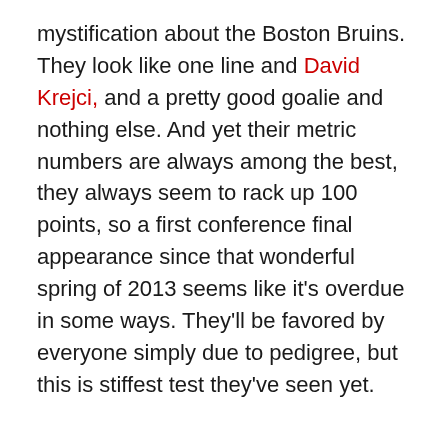mystification about the Boston Bruins. They look like one line and David Krejci, and a pretty good goalie and nothing else. And yet their metric numbers are always among the best, they always seem to rack up 100 points, so a first conference final appearance since that wonderful spring of 2013 seems like it's overdue in some ways. They'll be favored by everyone simply due to pedigree, but this is stiffest test they've seen yet.
Goalies: This would be easier if we could pin down who exactly is playing for Carolina. Petr Mrazek has returned to practice, so it stands to reason he'll take his normal post…between the posts (that could be better). Curtis McElhinney did close out the Islanders from the third period of Game 2 on, but that was the Isles and their Trotz-inspired offense-allergy. The Bs come with far